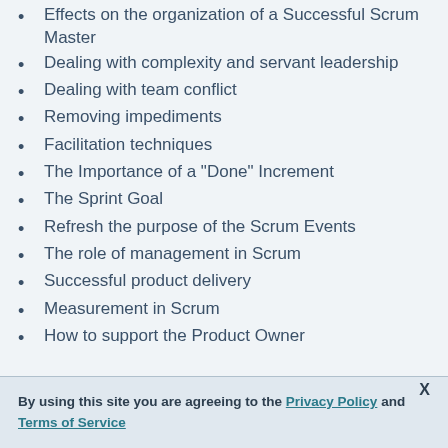Effects on the organization of a Successful Scrum Master
Dealing with complexity and servant leadership
Dealing with team conflict
Removing impediments
Facilitation techniques
The Importance of a "Done" Increment
The Sprint Goal
Refresh the purpose of the Scrum Events
The role of management in Scrum
Successful product delivery
Measurement in Scrum
How to support the Product Owner
By using this site you are agreeing to the Privacy Policy and Terms of Service